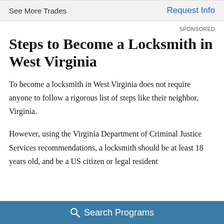See More Trades    Request Info
SPONSORED
Steps to Become a Locksmith in West Virginia
To become a locksmith in West Virginia does not require anyone to follow a rigorous list of steps like their neighbor, Virginia.
However, using the Virginia Department of Criminal Justice Services recommendations, a locksmith should be at least 18 years old, and be a US citizen or legal resident
Search Programs